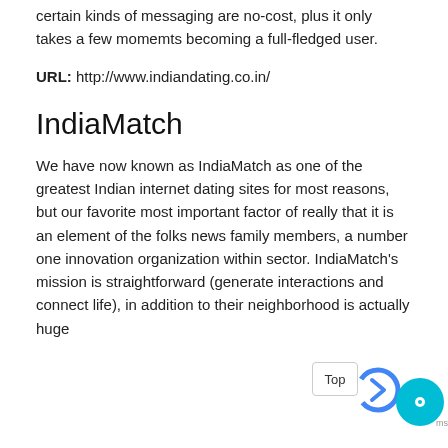certain kinds of messaging are no-cost, plus it only takes a few momemts becoming a full-fledged user.
URL: http://www.indiandating.co.in/
IndiaMatch
We have now known as IndiaMatch as one of the greatest Indian internet dating sites for most reasons, but our favorite most important factor of really that it is an element of the folks news family members, a number one innovation organization within sector. IndiaMatch's mission is straightforward (generate interactions and connect life), in addition to their neighborhood is actually huge